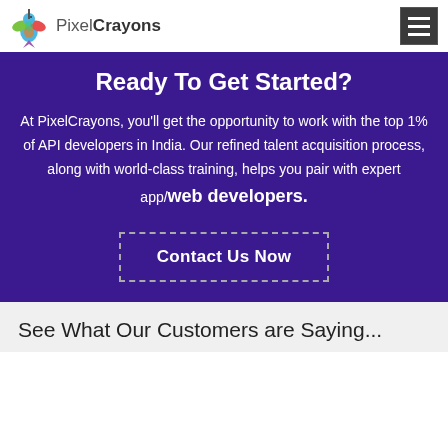PixelCrayons
Ready To Get Started?
At PixelCrayons, you'll get the opportunity to work with the top 1% of API developers in India. Our refined talent acquisition process, along with world-class training, helps you pair with expert app/web developers.
Contact Us Now
See What Our Customers are Saying...